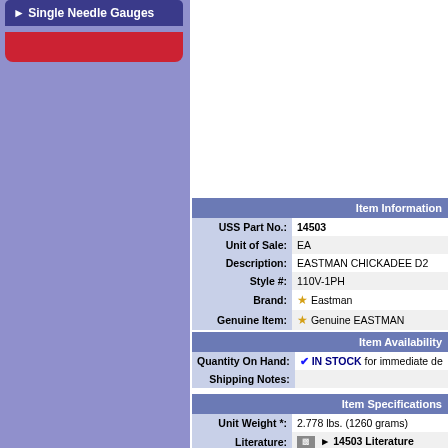Single Needle Gauges
| Item Information |
| --- |
| USS Part No.: | 14503 |
| Unit of Sale: | EA |
| Description: | EASTMAN CHICKADEE D2 |
| Style #: | 110V-1PH |
| Brand: | Eastman |
| Genuine Item: | Genuine EASTMAN |
| Item Availability |
| --- |
| Quantity On Hand: | IN STOCK for immediate de |
| Shipping Notes: |  |
| Item Specifications |
| --- |
| Unit Weight *: | 2.778 lbs. (1260 grams) |
| Literature: | 14503 Literature |